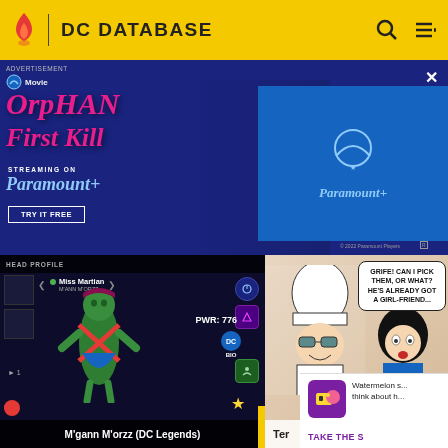DC DATABASE
[Figure (screenshot): Advertisement banner for Orphan: First Kill streaming on Paramount+. Shows movie title in pink italic text, a dark-haired woman, and Paramount+ logo. Includes 'TRY IT FREE' button. Right side shows blue Paramount+ logo box.]
[Figure (screenshot): DC Legends game screenshot showing Miss Martian / M'gann M'orzz character with green skin, red X costume. Shows PWR: 776, DC BIO labels. Bottom label reads M'gann M'orzz (DC Legends).]
M'gann M'orzz (DC Legends)
[Figure (illustration): Comic book panel showing a man in chef hat and sunglasses holding a cactus plant, with a dark-haired woman. Speech bubble reads: GRIFE! CAN I PICK THEM, OR WHAT? HE'S ALREADY GOT A GIRL-FRIEND...]
Watermelon s... think about h...
TAKE THE S